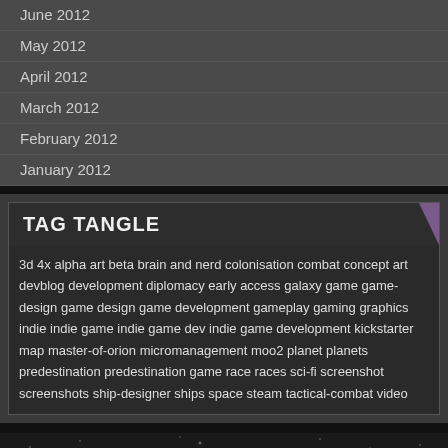June 2012
May 2012
April 2012
March 2012
February 2012
January 2012
TAG TANGLE
3d 4x alpha art beta brain and nerd colonisation combat concept art devblog development diplomacy early access galaxy game game-design game design game development gameplay gaming graphics indie indie game indie game dev indie game development kickstarter map master-of-orion micromanagement moo2 planet planets predestination predestination game race races sci-fi screenshot screenshots ship-designer ships space steam tactical-combat video
Predestination is developed by Brain and Nerd Ltd. "Predestination" and "Brain and Nerd" are registered trademarks of Brain and Nerd Ltd.